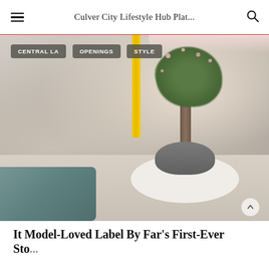Culver City Lifestyle Hub Plat...
[Figure (photo): Interior retail space with a white curved planter base holding a decorative tree with green foliage and pink flowers, a yellow pillar, teal patterned rug on light hardwood floor, and merchandise displays. Tags overlay the top: CENTRAL LA, OPENINGS, STYLE.]
It Model-Loved Label By Far's First-Ever Sto...